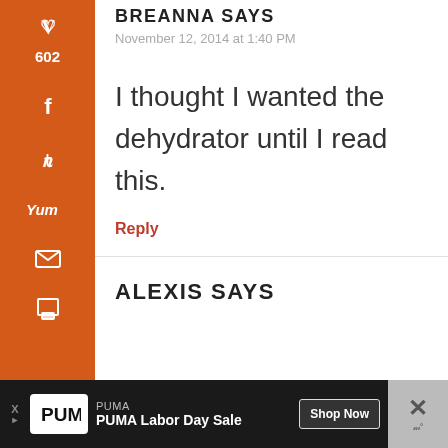BREANNA SAYS
November 12, 2014 at 1:40 PM
I thought I wanted the dehydrator until I read this.
Reply
ALEXIS SAYS
[Figure (screenshot): Social sharing sidebar with Pinterest (602), Facebook, Twitter, Yummly, email, and print icons on orange background. Below: 602 SHARES label.]
[Figure (screenshot): PUMA advertisement banner at bottom: PUMA Labor Day Sale with Shop Now button on dark background.]